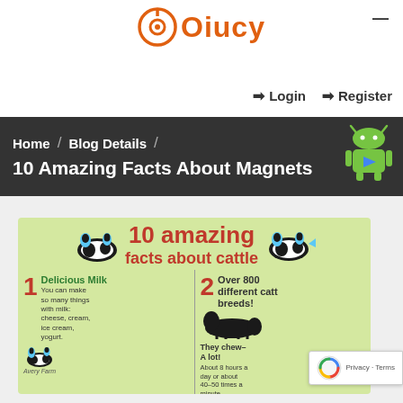[Figure (logo): Oiucy logo with orange circular icon and orange text]
Login   Register
Home / Blog Details / 10 Amazing Facts About Magnets
[Figure (infographic): 10 amazing facts about cattle infographic with facts: 1 Delicious Milk - You can make so many things with milk: cheese, cream, ice cream, yogurt. 2 Over 800 different cattle breeds! They chew- A lot! About 8 hours a day or about 40-50 times a minute. 3 Cows can see almost 360 degrees. This keeps them safe from predators. 5 They sleep. 6 The rumen can]